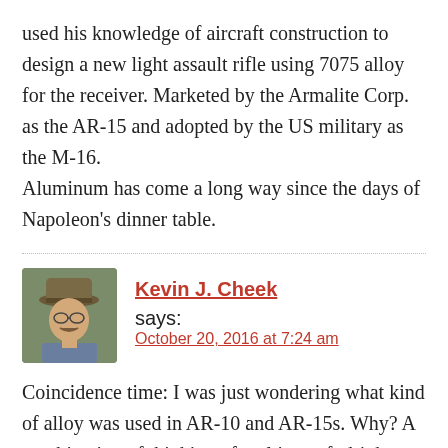used his knowledge of aircraft construction to design a new light assault rifle using 7075 alloy for the receiver. Marketed by the Armalite Corp. as the AR-15 and adopted by the US military as the M-16. Aluminum has come a long way since the days of Napoleon's dinner table.
Kevin J. Cheek says: October 20, 2016 at 7:24 am
[Figure (photo): Avatar photo of Kevin J. Cheek — a man wearing a hat and glasses]
Coincidence time: I was just wondering what kind of alloy was used in AR-10 and AR-15s. Why? A combination of thinking of melting soft drink cans to make a machine shop, realizing